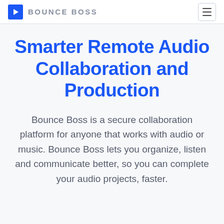BOUNCE BOSS
Smarter Remote Audio Collaboration and Production
Bounce Boss is a secure collaboration platform for anyone that works with audio or music. Bounce Boss lets you organize, listen and communicate better, so you can complete your audio projects, faster.